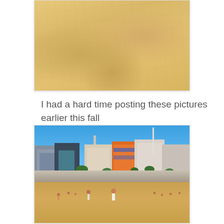[Figure (photo): Close-up photo of sandy beach surface, warm golden sand texture filling the entire frame, bottom portion of a beach scene]
I had a hard time posting these pictures earlier this fall
[Figure (photo): Beach scene showing a wide sandy beach in the foreground with a few people walking, a stone sea wall in the middle, and colorful apartment buildings and structures behind the wall under a clear blue sky. A tall white pole or lighthouse is visible on the right side.]